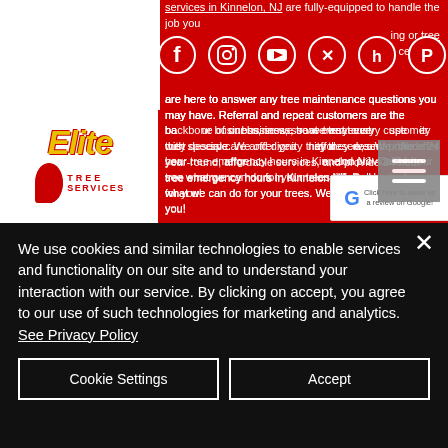[Figure (logo): Elite Tree Services logo with yellow italic text on white background]
[Figure (infographic): Social media icons: Facebook, Instagram, YouTube, Twitter, Houzz, Pinterest]
services in Kinnelon, NJ are fully-equipped to handle the job you need, whether it's tree removal, tree trimming or tree pruning. Our experienced staff are here to answer any tree maintenance questions you may have. Referral and repeat customers are the backbone of our business, so we treat every customer with the special care and dignity they deserve. We offer year-round, affordable services, and provide 24 hour tree emergency hours in Kinnelon NJ. Call us to see what we can do for your trees. We're always here for you!
Elite Tree Service in Kinnelon, NJ has always maintained a distinguished reputation throughout the tree maintenance industry. We are very proud of who we are and would like to tell you about us. We pride ourselves in customer satisfaction. It's how we got to be the business we are today, and exactly why most of our business comes from referrals and recommendations. With that in mind, we
We use cookies and similar technologies to enable services and functionality on our site and to understand your interaction with our service. By clicking on accept, you agree to our use of such technologies for marketing and analytics. See Privacy Policy
Cookie Settings
Accept